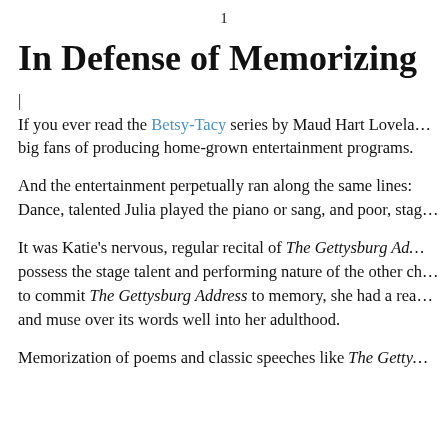1
In Defense of Memorizing
| If you ever read the Betsy-Tacy series by Maud Hart Lovela… big fans of producing home-grown entertainment programs.
And the entertainment perpetually ran along the same lines: Dance, talented Julia played the piano or sang, and poor, stag…
It was Katie's nervous, regular recital of The Gettysburg Ad… possess the stage talent and performing nature of the other ch… to commit The Gettysburg Address to memory, she had a rea… and muse over its words well into her adulthood.
Memorization of poems and classic speeches like The Getty…